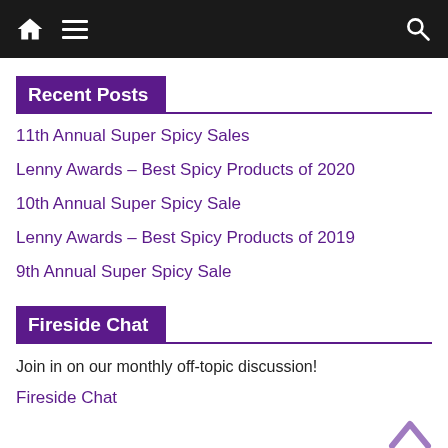Navigation bar with home, menu, and search icons
Recent Posts
11th Annual Super Spicy Sales
Lenny Awards – Best Spicy Products of 2020
10th Annual Super Spicy Sale
Lenny Awards – Best Spicy Products of 2019
9th Annual Super Spicy Sale
Fireside Chat
Join in on our monthly off-topic discussion!
Fireside Chat